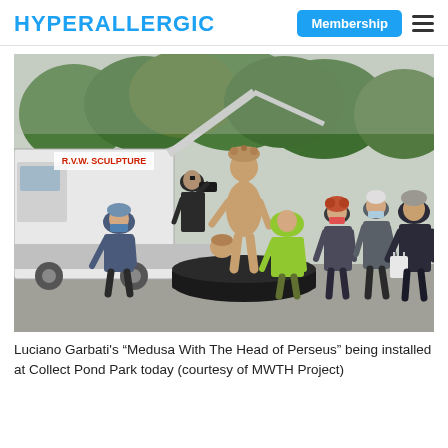HYPERALLERGIC
[Figure (photo): Luciano Garbati's 'Medusa With The Head of Perseus' sculpture being installed at Collect Pond Park. A crane truck labeled R.V.W. SCULPTURE is visible in the background. Several people wearing masks stand around the statue, which is mounted on a large circular black base. Trees are visible in the background.]
Luciano Garbati’s “Medusa With The Head of Perseus” being installed at Collect Pond Park today (courtesy of MWTH Project)